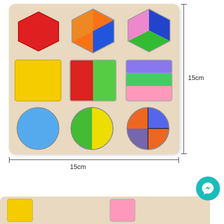[Figure (photo): Wooden geometric shape puzzle board (15cm x 15cm) with 9 shapes arranged in a 3x3 grid: top row has a solid red hexagon, a 3-piece hexagon (orange/blue), and a 3-piece hexagon (blue/pink/green); middle row has a solid yellow square, a 2-piece square (red/green), and a 3-piece square (purple/green/pink); bottom row has a solid blue circle, a 2-piece circle (green/yellow), and a 3-piece circle (blue/orange/purple). Dimension lines show 15cm width and 15cm height.]
15cm
15cm
[Figure (photo): Partial bottom view of another wooden puzzle board, cropped at bottom of page. Teal Messenger chat icon in bottom right.]